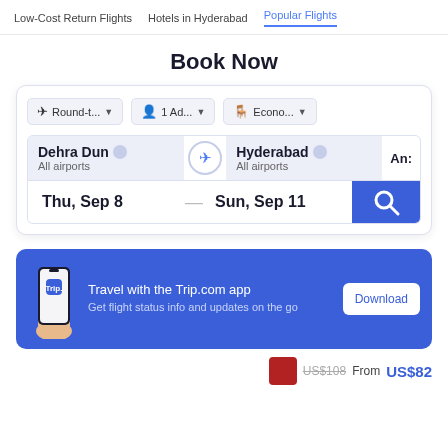Low-Cost Return Flights   Hotels in Hyderabad   Popular Flights
Book Now
[Figure (screenshot): Flight search widget with Round-trip, 1 Adult, Economy options. Origin: Dehra Dun (All airports), Destination: Hyderabad (All airports). Dates: Thu, Sep 8 — Sun, Sep 11 with a search button.]
[Figure (infographic): Trip.com app promotional banner. Text: Travel with the Trip.com app — Get flight status info and updates on the go. Download button on the right.]
US$108   From US$82